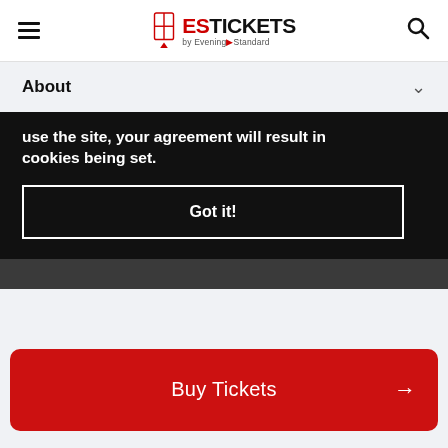[Figure (logo): ES Tickets by Evening Standard logo with hamburger menu and search icon in white header bar]
About
use the site, your agreement will result in cookies being set.
Got it!
Buy Tickets →